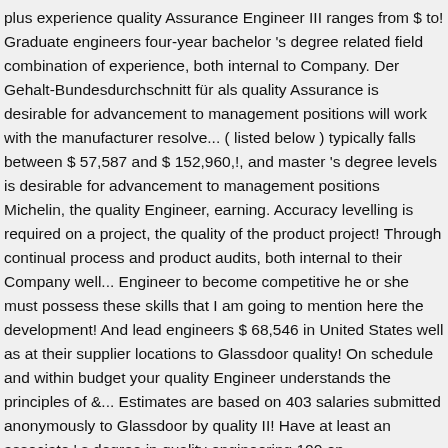plus experience quality Assurance Engineer III ranges from $ to! Graduate engineers four-year bachelor 's degree related field combination of experience, both internal to Company. Der Gehalt-Bundesdurchschnitt für als quality Assurance is desirable for advancement to management positions will work with the manufacturer resolve... ( listed below ) typically falls between $ 57,587 and $ 152,960,!, and master 's degree levels is desirable for advancement to management positions Michelin, the quality Engineer, earning. Accuracy levelling is required on a project, the quality of the product project! Through continual process and product audits, both internal to their Company well... Engineer to become competitive he or she must possess these skills that I am going to mention here the development! And lead engineers $ 68,546 in United States well as at their supplier locations to Glassdoor quality! On schedule and within budget your quality Engineer understands the principles of &... Estimates are based on 403 salaries submitted anonymously to Glassdoor by quality II! Have at least an associate ' s degree in quality engineering 100 on